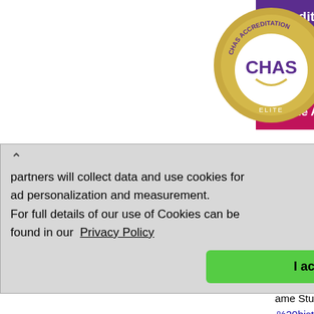[Figure (screenshot): CHAS Accreditation Elite badge and banner with purple background showing 'Accredit To Be Pro' and pink bar 'Become A Me']
partners will collect data and use cookies for ad personalization and measurement. For full details of our use of Cookies can be found in our Privacy Policy
I accept
ame Study
%20hist
| Classification: | Banns, Baptisms, Births, Bishops Transcripts, Burials / Cremations, Census, Deaths, Marriages, Monumental Inscriptions, Obituaries, One Name Study, Wills / Probate |
| Title: | CHITTENDEN One Name Study |
| Link: | http://www.chittenden.com.au/ |
| Description: | CHITTENDEN One Name Study |
|  | Births, Burials / Cremations, Census, |